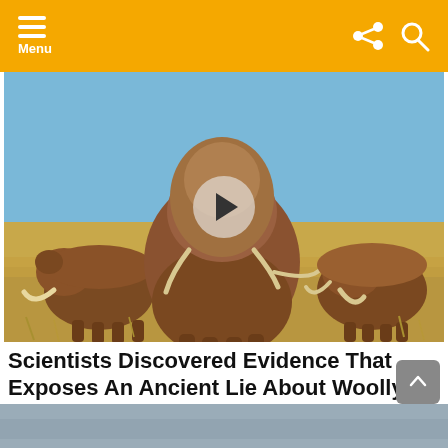Menu
[Figure (photo): CGI rendering of a group of woolly mammoths standing in a grassy field under a clear blue sky, with a video play button overlay in the center.]
Scientists Discovered Evidence That Exposes An Ancient Lie About Woolly Mammoths
by Facts Verse
3 years ago